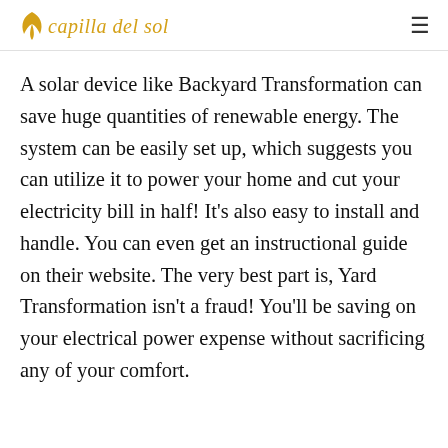capilla del sol
A solar device like Backyard Transformation can save huge quantities of renewable energy. The system can be easily set up, which suggests you can utilize it to power your home and cut your electricity bill in half! It’s also easy to install and handle. You can even get an instructional guide on their website. The very best part is, Yard Transformation isn’t a fraud! You’ll be saving on your electrical power expense without sacrificing any of your comfort.